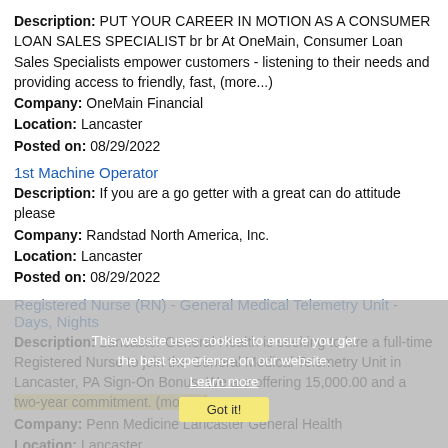Description: PUT YOUR CAREER IN MOTION AS A CONSUMER LOAN SALES SPECIALIST br br At OneMain, Consumer Loan Sales Specialists empower customers - listening to their needs and providing access to friendly, fast, (more...)
Company: OneMain Financial
Location: Lancaster
Posted on: 08/29/2022
1st Machine Operator
Description: If you are a go getter with a great can do attitude please
Company: Randstad North America, Inc.
Location: Lancaster
Posted on: 08/29/2022
Registered Nurse (RN) - General Medical Telemetry Unit - Days, Nights
Description: Lancaster General Health is seeking to hire a full-time Registered Nurse to join the General Medical Telemetry Unit in Lancaster, PA Sign-On Bonus: We are offering 15,000.00 and a two-year commitment. (more...)
Company: Penn Medicine Lancaster General Health
Location: Lancaster
Posted on: 08/29/2022